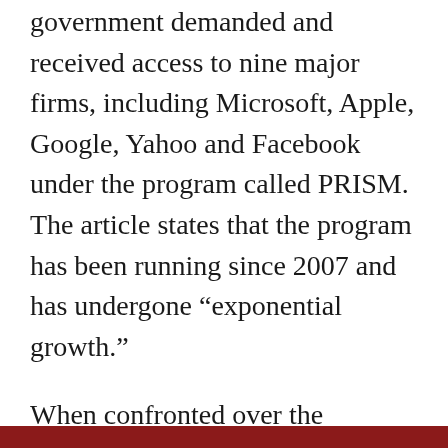government demanded and received access to nine major firms, including Microsoft, Apple, Google, Yahoo and Facebook under the program called PRISM. The article states that the program has been running since 2007 and has undergone “exponential growth.”
When confronted over the massive government surveillance, Feinstein was dismissive and said “It’s called